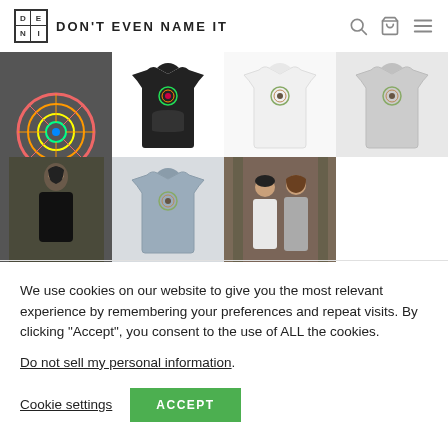DON'T EVEN NAME IT
[Figure (photo): Product grid showing hoodies: black hoodie with circular logo, artistic mandala design, white hoodie, gray hoodie (top row); blue-gray hoodie, woman in black jacket photo, couple in casual wear photo (bottom row)]
We use cookies on our website to give you the most relevant experience by remembering your preferences and repeat visits. By clicking “Accept”, you consent to the use of ALL the cookies.
Do not sell my personal information.
Cookie settings   ACCEPT